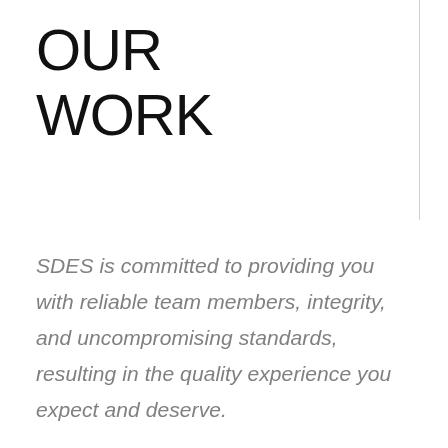OUR WORK
SDES is committed to providing you with reliable team members, integrity, and uncompromising standards, resulting in the quality experience you expect and deserve.